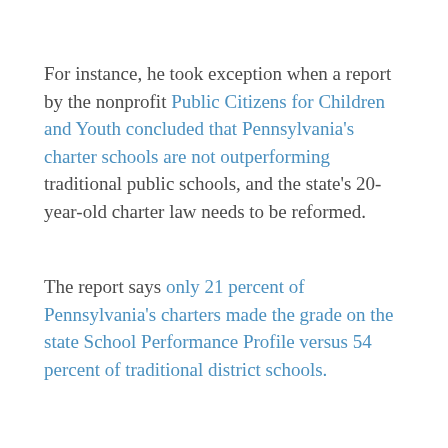For instance, he took exception when a report by the nonprofit Public Citizens for Children and Youth concluded that Pennsylvania's charter schools are not outperforming traditional public schools, and the state's 20-year-old charter law needs to be reformed.
The report says only 21 percent of Pennsylvania's charters made the grade on the state School Performance Profile versus 54 percent of traditional district schools.